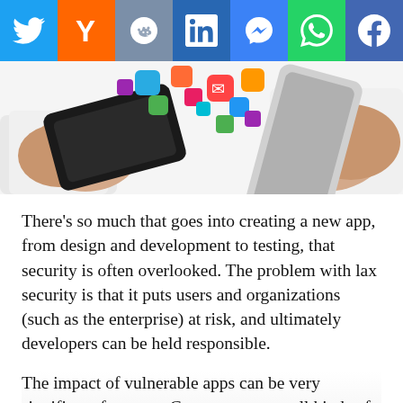[Figure (screenshot): Social media sharing bar with icons for Twitter, Hacker News (Y), Reddit, LinkedIn, Messenger, WhatsApp, and Facebook]
[Figure (photo): Two pairs of hands holding smartphones with colorful app icons flying between them on a white background]
There’s so much that goes into creating a new app, from design and development to testing, that security is often overlooked. The problem with lax security is that it puts users and organizations (such as the enterprise) at risk, and ultimately developers can be held responsible.
The impact of vulnerable apps can be very significant for users. Consumers store all kinds of sensitive data that can be easily exposed, such as payment account details, personal photos, and email messages. If consumers use